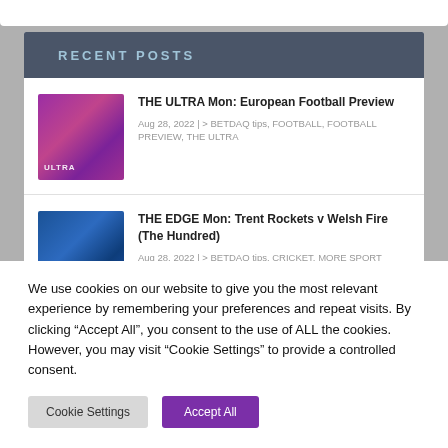RECENT POSTS
THE ULTRA Mon: European Football Preview
Aug 28, 2022 | > BETDAQ tips, FOOTBALL, FOOTBALL PREVIEW, THE ULTRA
THE EDGE Mon: Trent Rockets v Welsh Fire (The Hundred)
Aug 28, 2022 | > BETDAQ tips, CRICKET, MORE SPORT
We use cookies on our website to give you the most relevant experience by remembering your preferences and repeat visits. By clicking “Accept All”, you consent to the use of ALL the cookies. However, you may visit “Cookie Settings” to provide a controlled consent.